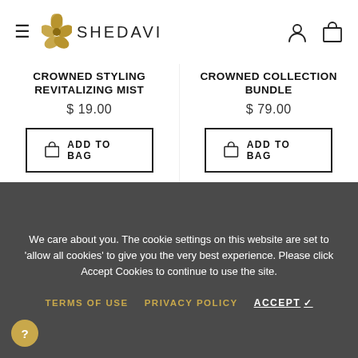SHEDAVI header with hamburger menu, logo, user icon, and cart icon
CROWNED STYLING REVITALIZING MIST
$ 19.00
ADD TO BAG
CROWNED COLLECTION BUNDLE
$ 79.00
ADD TO BAG
We care about you. The cookie settings on this website are set to 'allow all cookies' to give you the very best experience. Please click Accept Cookies to continue to use the site.
TERMS OF USE
PRIVACY POLICY
ACCEPT ✓